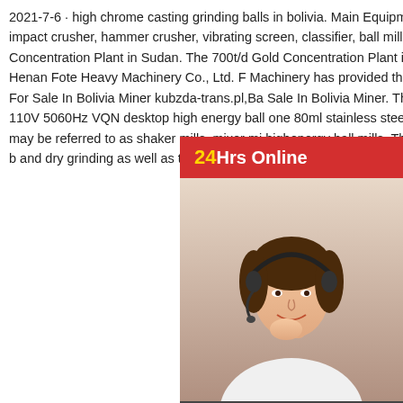2021-7-6 · high chrome casting grinding balls in bolivia. Main Equipment:Jaw crusher, impact crusher, hammer crusher, vibrating screen, classifier, ball mill, etc. 700td Gold Concentration Plant in Sudan. The 700t/d Gold Concentration Plant in Sudan is by Henan Fote Heavy Machinery Co., Ltd. F Machinery has provided the whole serviceBa For Sale In Bolivia Miner kubzda-trans.pl,Ba Sale In Bolivia Miner. This listing is for a bra 110V 5060Hz VQN desktop high energy ball one 80ml stainless steel jar and balls.. VQN may be referred to as shaker mills, mixer mi highenergy ball mills. They can be used for b and dry grinding as well as to mix a variety d suspended
[Figure (photo): Customer service representative wearing a headset with '24Hrs Online' banner in red and a 'Need questions & suggestion? Chat Now' widget below]
[Figure (photo): Industrial machinery (ball mills/crushers) inside a factory building with email overlay: Email:lmzqvip@gmail.com]